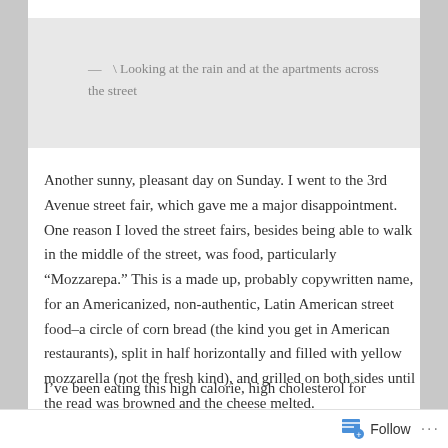— \ Looking at the rain and at the apartments across the street
Another sunny, pleasant day on Sunday. I went to the 3rd Avenue street fair, which gave me a major disappointment. One reason I loved the street fairs, besides being able to walk in the middle of the street, was food, particularly “Mozzarepa.” This is a made up, probably copywritten name, for an Americanized, non-authentic, Latin American street food–a circle of corn bread (the kind you get in American restaurants), split in half horizontally and filled with yellow mozzarella (not the fresh kind), and grilled on both sides until the read was browned and the cheese melted.
I’ve been eating this high calorie, high cholesterol for